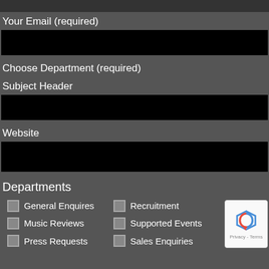Your Email (required)
[Figure (other): Black input field for email]
Choose Department (required)
Subject Header
[Figure (other): Black input field for subject header]
Website
[Figure (other): Black input field for website]
Departments
General Enquires
Recruitment
Music Reviews
Supported Events
Press Requests
Sales Enquiries
[Figure (other): reCAPTCHA widget with Privacy - Terms text]